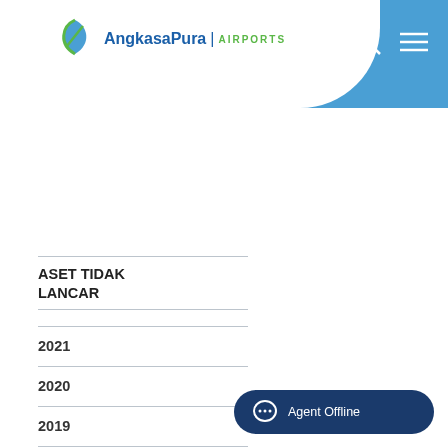[Figure (logo): AngkasaPura Airports logo with blue and green leaf icon]
ASET TIDAK LANCAR
2021
2020
2019
2018
2017